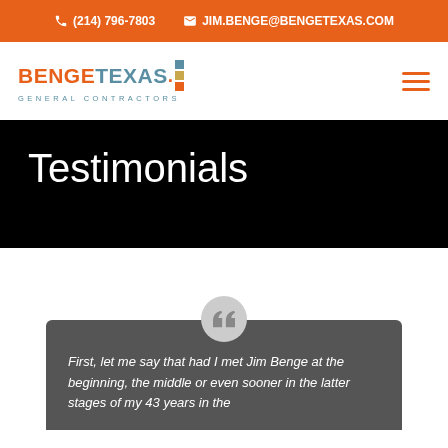(214) 796-7803  JIM.BENGE@BENGETEXAS.COM
[Figure (logo): Benge Texas General Contractors logo with colored squares]
Testimonials
First, let me say that had I met Jim Benge at the beginning, the middle or even sooner in the latter stages of my 43 years in the